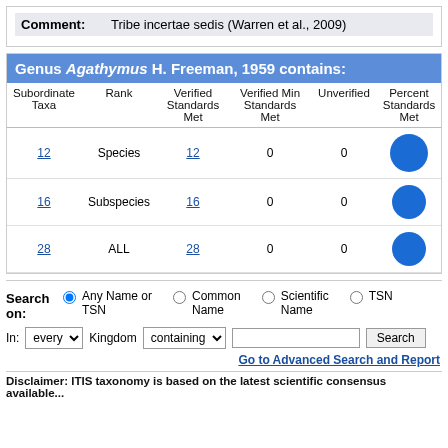| Comment: |
| --- |
| Tribe incertae sedis (Warren et al., 2009) |
Genus Agathymus H. Freeman, 1959 contains:
| Subordinate Taxa | Rank | Verified Standards Met | Verified Min Standards Met | Unverified | Percent Standards Met |
| --- | --- | --- | --- | --- | --- |
| 12 | Species | 12 | 0 | 0 | ● |
| 16 | Subspecies | 16 | 0 | 0 | ● |
| 28 | ALL | 28 | 0 | 0 | ● |
Search on: Any Name or TSN  Common Name  Scientific Name  TSN
In: every Kingdom containing  [text field]  Search
Go to Advanced Search and Report
Disclaimer: ITIS taxonomy is based on the latest scientific consensus available...